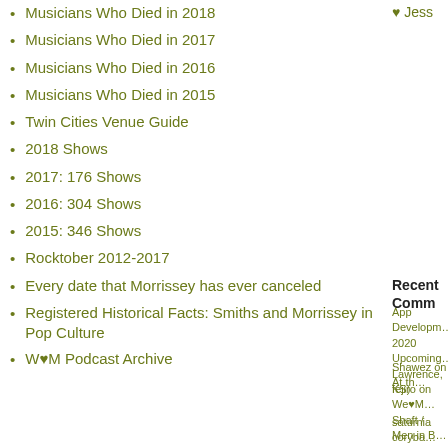Musicians Who Died in 2018
Musicians Who Died in 2017
Musicians Who Died in 2016
Musicians Who Died in 2015
Twin Cities Venue Guide
2018 Shows
2017: 176 Shows
2016: 304 Shows
2015: 346 Shows
Rocktober 2012-2017
Every date that Morrissey has ever canceled
Registered Historical Facts: Smiths and Morrissey in Pop Culture
W♥M Podcast Archive
♥ Jess
Recent Comm
App Developm… 2020 Upcoming… Lawrence, KS)
Shawez on At th…
fejiro on We♥M… Shaft / Men in B…
saturnia coryba… 2020